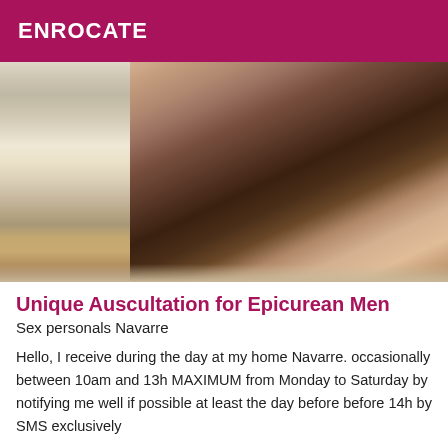ENROCATE
[Figure (photo): Close-up photo showing legs/lower body, dimly lit indoor setting with wooden floor visible in background]
Unique Auscultation for Epicurean Men
Sex personals Navarre
Hello, I receive during the day at my home Navarre. occasionally between 10am and 13h MAXIMUM from Monday to Saturday by notifying me well if possible at least the day before before 14h by SMS exclusively